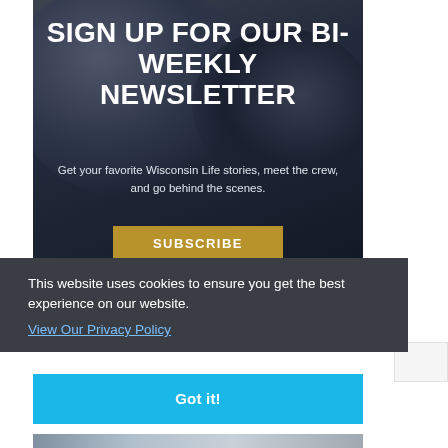[Figure (illustration): Dark textured background banner with newsletter sign-up prompt]
SIGN UP FOR OUR BI-WEEKLY NEWSLETTER
Get your favorite Wisconsin Life stories, meet the crew, and go behind the scenes.
This website uses cookies to ensure you get the best experience on our website.
View Our Privacy Policy
Got it!